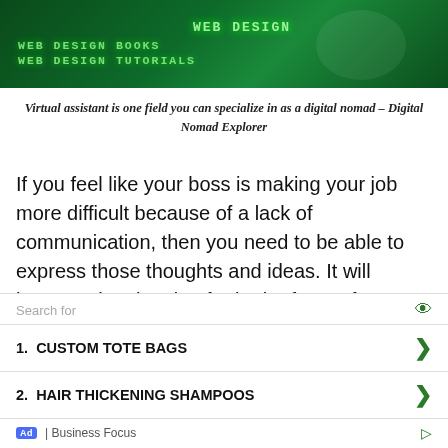[Figure (illustration): Dark green banner image with text: WEB DESIGN at top center, WEB DESIGN BOOKS and WEB DESIGN TUTORIALS on the left in monospace font]
Virtual assistant is one field you can specialize in as a digital nomad – Digital Nomad Explorer
If you feel like your boss is making your job more difficult because of a lack of communication, then you need to be able to express those thoughts and ideas. It will improve the situation for both of you. If you come from a position of wanting to better your boss's professional life, they will learn to respect and heed your advice.
Search for
1.  CUSTOM TOTE BAGS
2.  HAIR THICKENING SHAMPOOS
Ad | Business Focus